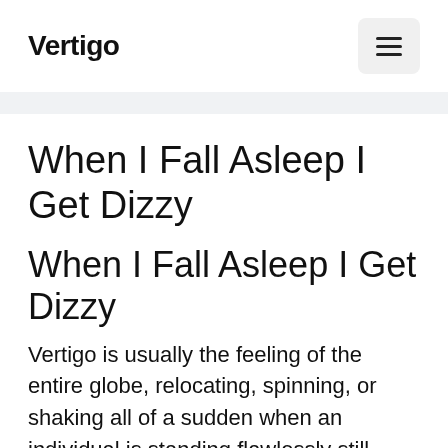Vertigo
When I Fall Asleep I Get Dizzy
When I Fall Asleep I Get Dizzy
Vertigo is usually the feeling of the entire globe, relocating, spinning, or shaking all of a sudden when an individual is standing flawlessly still. Some individuals additionally